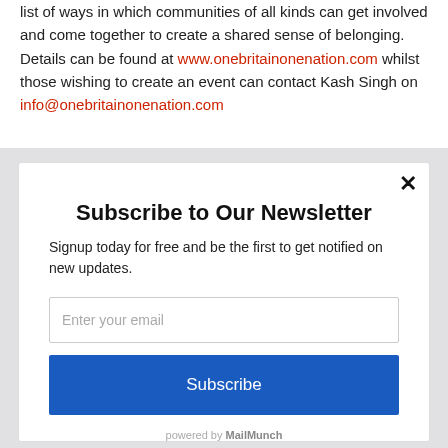list of ways in which communities of all kinds can get involved and come together to create a shared sense of belonging. Details can be found at www.onebritainonenation.com whilst those wishing to create an event can contact Kash Singh on info@onebritainonenation.com
Subscribe to Our Newsletter
Signup today for free and be the first to get notified on new updates.
Enter your email
Subscribe
powered by MailMunch